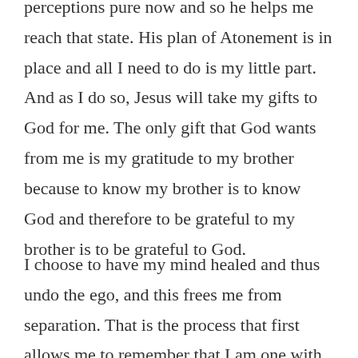perceptions pure now and so he helps me reach that state. His plan of Atonement is in place and all I need to do is my little part. And as I do so, Jesus will take my gifts to God for me. The only gift that God wants from me is my gratitude to my brother because to know my brother is to know God and therefore to be grateful to my brother is to be grateful to God.
I choose to have my mind healed and thus undo the ego, and this frees me from separation. That is the process that first allows me to remember that I am one with my brothers and then to remember that we are one with God. It is very simple and with the Holy Spirit's help, it is very easy. I don't even have to do this with each of my brothers. One brother completely recognized makes